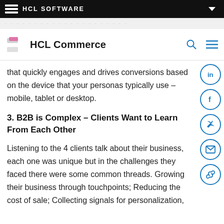HCL SOFTWARE
[Figure (logo): HCL Commerce logo with pink/gray stylized icon and bold text 'HCL Commerce', with search and menu icons on right]
that quickly engages and drives conversions based on the device that your personas typically use – mobile, tablet or desktop.
3. B2B is Complex – Clients Want to Learn From Each Other
Listening to the 4 clients talk about their business, each one was unique but in the challenges they faced there were some common threads. Growing their business through touchpoints; Reducing the cost of sale; Collecting signals for personalization,